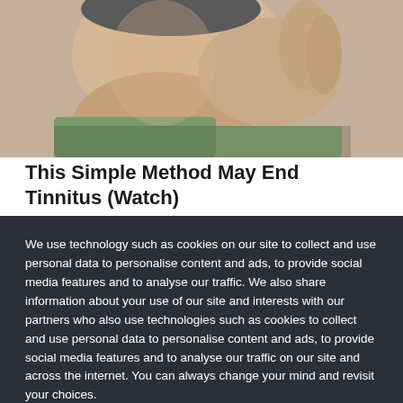[Figure (photo): Photo of an older man holding his hand to his ear/jaw, suggesting ear pain or tinnitus, wearing a green shirt, close-up shot]
This Simple Method May End Tinnitus (Watch)
The Healthy News
We use technology such as cookies on our site to collect and use personal data to personalise content and ads, to provide social media features and to analyse our traffic. We also share information about your use of our site and interests with our partners who also use technologies such as cookies to collect and use personal data to personalise content and ads, to provide social media features and to analyse our traffic on our site and across the internet. You can always change your mind and revisit your choices.
Manage Options
I Accept